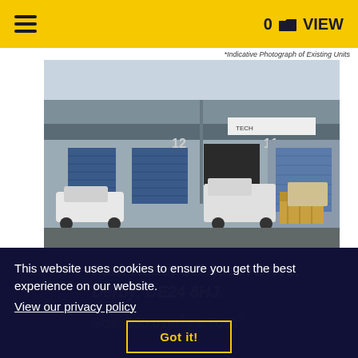0 VIEW
*Indicative Photograph of Existing Units
[Figure (photo): Photograph of industrial/warehouse units on an estate showing units numbered 11 and 12, with blue roller shutter doors, vans parked outside, and concrete bollards in the foreground]
This website uses cookies to ensure you get the best experience on our website.
View our privacy policy
Park Road, Off Ascot Drive, Derby, DE24 8HJ.
Size: 530.01m² / 5,705ft²
Got it!